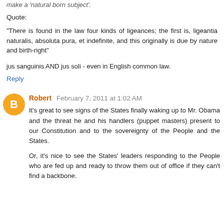make a 'natural born subject'.
Quote:
"There is found in the law four kinds of ligeances; the first is, ligeantia naturalis, absoluta pura, et indefinite, and this originally is due by nature and birth-right"
jus sanguinis AND jus soli - even in English common law.
Reply
Robert  February 7, 2011 at 1:02 AM
It's great to see signs of the States finally waking up to Mr. Obama and the threat he and his handlers (puppet masters) present to our Constitution and to the sovereignty of the People and the States.
Or, it's nice to see the States' leaders responding to the People who are fed up and ready to throw them out of office if they can't find a backbone.